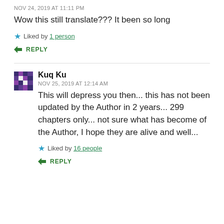NOV 24, 2019 AT 11:11 PM
Wow this still translate??? It been so long
Liked by 1 person
REPLY
Kuq Ku
NOV 25, 2019 AT 12:14 AM
This will depress you then... this has not been updated by the Author in 2 years... 299 chapters only... not sure what has become of the Author, I hope they are alive and well...
Liked by 16 people
REPLY